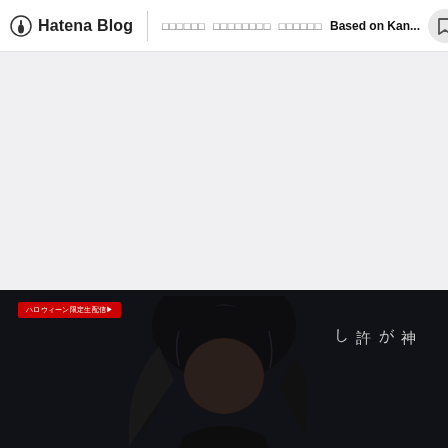Hatena Blog | □□□□□□ □□□□□□□□ □□□□□□ Based on Kan...
[Figure (photo): Gray placeholder area above a dark promotional image section showing a person with dark hair partially visible. A red badge with Japanese text is in the upper left. Japanese vertical text reading '神が許し' appears on the right side against a dark background.]